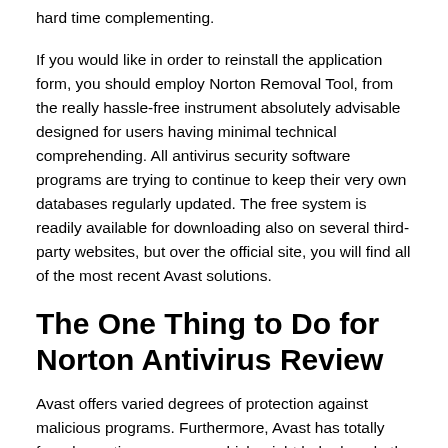hard time complementing.
If you would like in order to reinstall the application form, you should employ Norton Removal Tool, from the really hassle-free instrument absolutely advisable designed for users having minimal technical comprehending. All antivirus security software programs are trying to continue to keep their very own databases regularly updated. The free system is readily available for downloading also on several third-party websites, but over the official site, you will find all of the most recent Avast solutions.
The One Thing to Do for Norton Antivirus Review
Avast offers varied degrees of protection against malicious programs. Furthermore, Avast has totally free decryption resources which might help decode the files strike by different types of ransomware. Avast is also effective in cleaning out malware Ransomware is a particularly unpleasant idea. Avast comes with a vast range of plans to select from. Taking under consideration the best quality involving malware detection, it's safe to say that Avast